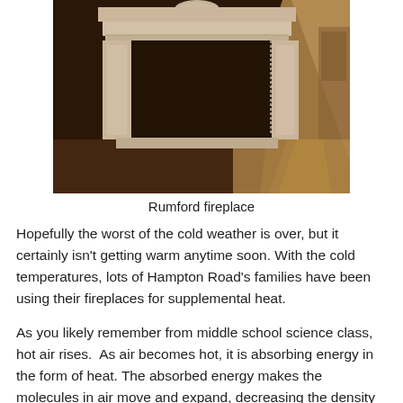[Figure (photo): Sepia-toned photograph of a Rumford fireplace with ornate white mantel surround, showing light streaming in from the right side.]
Rumford fireplace
Hopefully the worst of the cold weather is over, but it certainly isn't getting warm anytime soon. With the cold temperatures, lots of Hampton Road's families have been using their fireplaces for supplemental heat.
As you likely remember from middle school science class, hot air rises.  As air becomes hot, it is absorbing energy in the form of heat. The absorbed energy makes the molecules in air move and expand, decreasing the density of the air. On the other